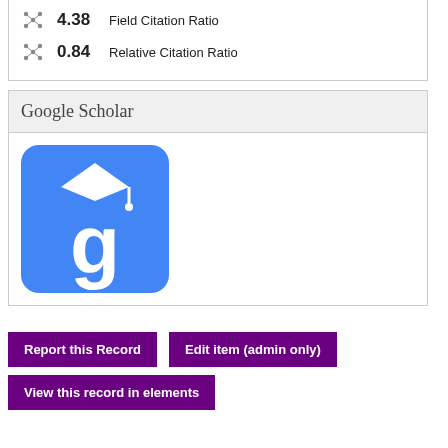[Figure (infographic): Citation metrics panel showing Field Citation Ratio 4.38 and Relative Citation Ratio 0.84 with scatter-cluster icons]
Google Scholar
[Figure (logo): Google Scholar logo — blue rounded square with white 'g' wearing a graduation cap]
Report this Record
Edit item (admin only)
View this record in elements